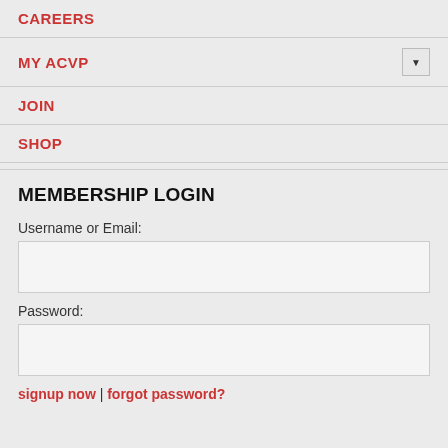CAREERS
MY ACVP
JOIN
SHOP
MEMBERSHIP LOGIN
Username or Email:
Password:
signup now | forgot password?